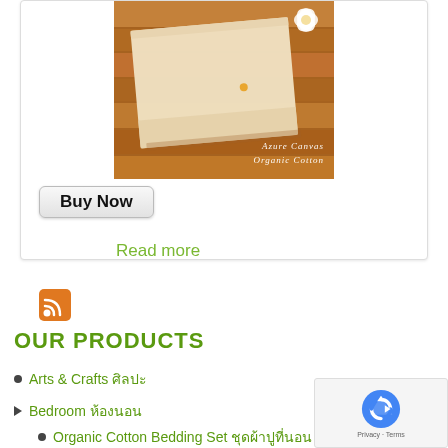[Figure (photo): Product photo of folded organic cotton fabric on a wooden surface, with a cotton flower, showing Azure Canvas Organic Cotton branding]
Buy Now
Read more
[Figure (other): RSS feed icon (orange square with white wifi-style signal lines)]
OUR PRODUCTS
Arts & Crafts ศิลปะ
Bedroom ห้องนอน
Organic Cotton Bedding Set ชุดผ้าปูที่นอน